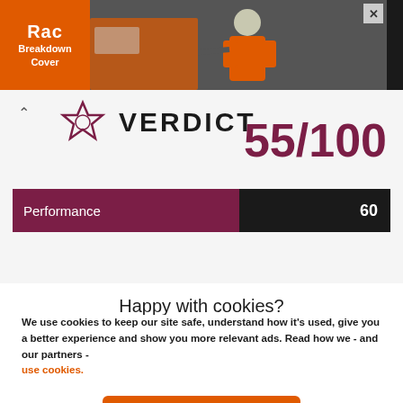[Figure (photo): RAC Breakdown Cover advertisement banner showing a man in orange high-visibility clothing working on a vehicle. Orange RAC logo on left, photo of worker on right with close button.]
VERDICT
55/100
[Figure (bar-chart): Performance]
Happy with cookies?
We use cookies to keep our site safe, understand how it's used, give you a better experience and show you more relevant ads. Read how we - and our partners - use cookies.
Yes, that's fine
No, manage cookies